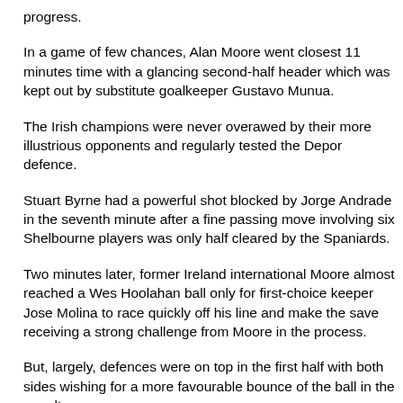progress.
In a game of few chances, Alan Moore went closest 11 minutes time with a glancing second-half header which was kept out by substitute goalkeeper Gustavo Munua.
The Irish champions were never overawed by their more illustrious opponents and regularly tested the Depor defence.
Stuart Byrne had a powerful shot blocked by Jorge Andrade in the seventh minute after a fine passing move involving six Shelbourne players was only half cleared by the Spaniards.
Two minutes later, former Ireland international Moore almost reached a Wes Hoolahan ball only for first-choice keeper Jose Molina to race quickly off his line and make the save receiving a strong challenge from Moore in the process.
But, largely, defences were on top in the first half with both sides wishing for a more favourable bounce of the ball in the penalty